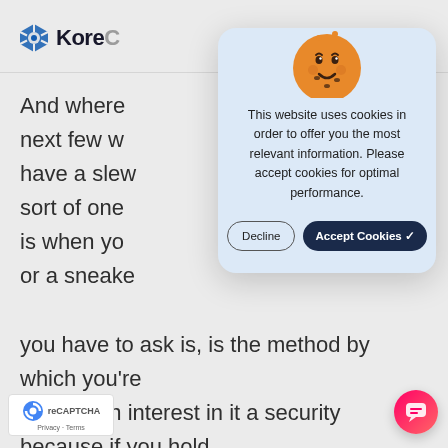KoreC
And where next few w have a slew sort of one is when yo or a sneake you have to ask is, is the method by which you're holding an interest in it a security because if you hold an NFT, or a racehorse directly, it's a physical hard asset, even if it's a digital hard asset. But if you're holding it through somebody who is holding those or you, then you've got Investment Com sed that you have to address. And that where we're going to see a whole bunch of
[Figure (screenshot): Cookie consent modal with cookie emoji illustration, message about website using cookies, and two buttons: Decline and Accept Cookies]
[Figure (logo): reCAPTCHA badge with Privacy and Terms links]
[Figure (other): Pink chat button in bottom right corner]